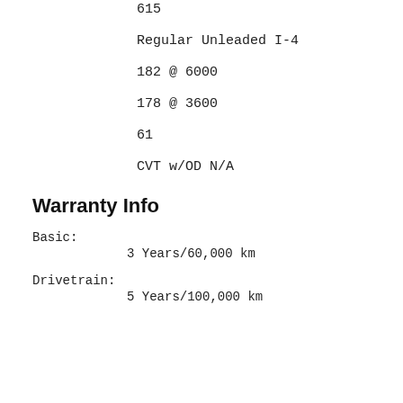615
Regular Unleaded I-4
182 @ 6000
178 @ 3600
61
CVT w/OD N/A
Warranty Info
Basic:
3 Years/60,000 km
Drivetrain:
5 Years/100,000 km